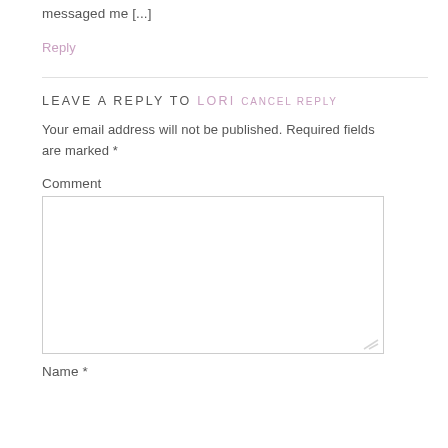messaged me [...]
Reply
LEAVE A REPLY TO LORI CANCEL REPLY
Your email address will not be published. Required fields are marked *
Comment
Name *